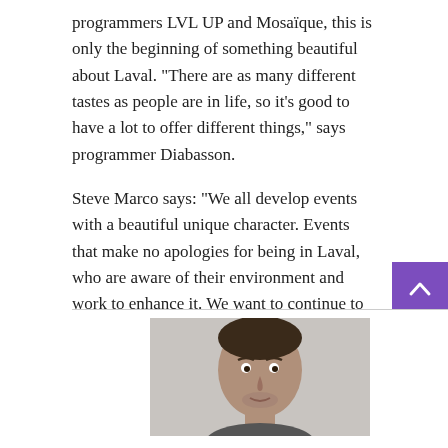programmers LVL UP and Mosaïque, this is only the beginning of something beautiful about Laval. "There are as many different tastes as people are in life, so it's good to have a lot to offer different things," says programmer Diabasson.
Steve Marco says: "We all develop events with a beautiful unique character. Events that make no apologies for being in Laval, who are aware of their environment and work to enhance it. We want to continue to be rooted in the community and get as many people as possible. There is a way to make Laval shines through with its culture."
Visit the Diabassun Festival website
Visit the LVL UP . website
Visit Mosaic
[Figure (photo): A photo of a person (man with short dark hair) partially visible at the bottom of the page inside a white box with a light border.]